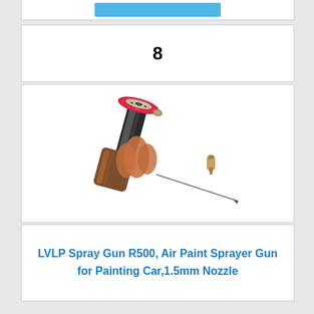[Figure (other): Partial view of a blue button or banner, cropped at the top of the page]
8
[Figure (photo): Close-up photo of an LVLP Spray Gun R500 showing the front nozzle area with a pink/red anodized air cap ring, chrome body, and a separate needle component displayed below]
LVLP Spray Gun R500, Air Paint Sprayer Gun for Painting Car,1.5mm Nozzle